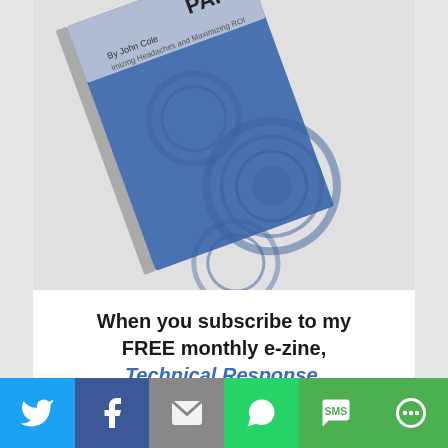[Figure (illustration): A tilted white paper booklet/report with blue cover design featuring gear/mandala patterns. Text visible: 'PAPER', 'By John Cole', '...imizing Headaches and Maximizing ROI', 'www.copyengineer.com']
When you subscribe to my FREE monthly e-zine, Technical Response.
Subscribe Now!
[Figure (infographic): Social sharing bar with 6 icons: Twitter (blue), Facebook (dark blue), Email (gray), WhatsApp (green), SMS (green), More/share (green)]